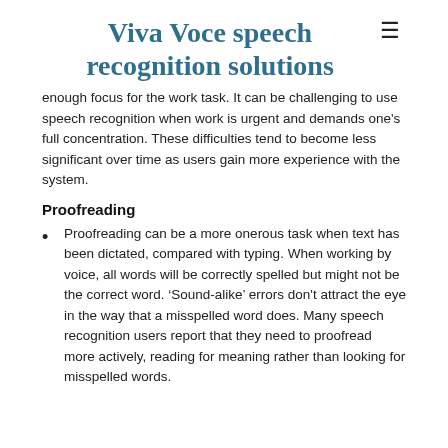Viva Voce speech recognition solutions
enough focus for the work task. It can be challenging to use speech recognition when work is urgent and demands one's full concentration. These difficulties tend to become less significant over time as users gain more experience with the system.
Proofreading
Proofreading can be a more onerous task when text has been dictated, compared with typing. When working by voice, all words will be correctly spelled but might not be the correct word. ‘Sound-alike’ errors don't attract the eye in the way that a misspelled word does. Many speech recognition users report that they need to proofread more actively, reading for meaning rather than looking for misspelled words.